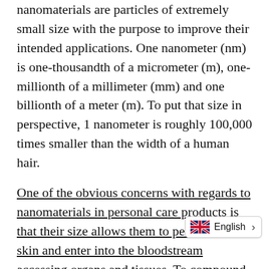nanomaterials are particles of extremely small size with the purpose to improve their intended applications. One nanometer (nm) is one-thousandth of a micrometer (m), one-millionth of a millimeter (mm) and one billionth of a meter (m). To put that size in perspective, 1 nanometer is roughly 100,000 times smaller than the width of a human hair.
One of the obvious concerns with regards to nanomaterials in personal care products is that their size allows them to penetrate the skin and enter into the bloodstream accessing organs and tissues. To compound this concern, there are virtually no studies that indicate the safety of these materials once they enter the body.
In the case of...